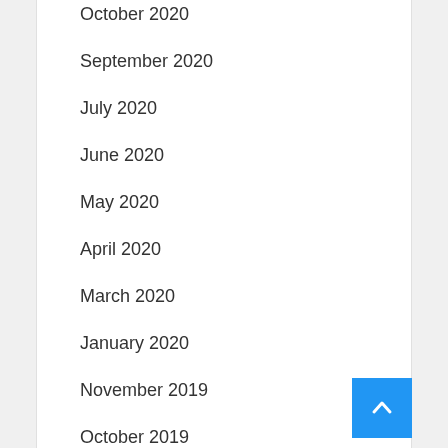October 2020
September 2020
July 2020
June 2020
May 2020
April 2020
March 2020
January 2020
November 2019
October 2019